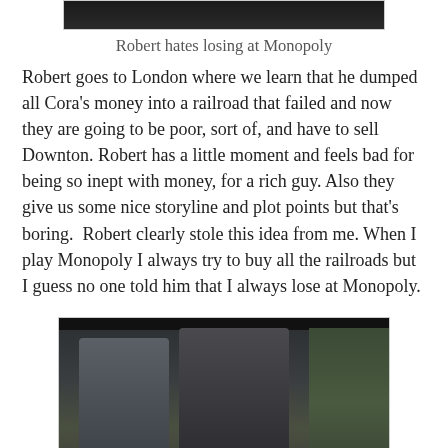[Figure (photo): A dark TV still image at top of page, partially cropped]
Robert hates losing at Monopoly
Robert goes to London where we learn that he dumped all Cora's money into a railroad that failed and now they are going to be poor, sort of, and have to sell Downton. Robert has a little moment and feels bad for being so inept with money, for a rich guy. Also they give us some nice storyline and plot points but that's boring.  Robert clearly stole this idea from me. When I play Monopoly I always try to buy all the railroads but I guess no one told him that I always lose at Monopoly.
[Figure (photo): A dark outdoor scene with two people wearing hats, appearing to be from a period TV drama (Downton Abbey), sitting together outside with foliage visible in background]